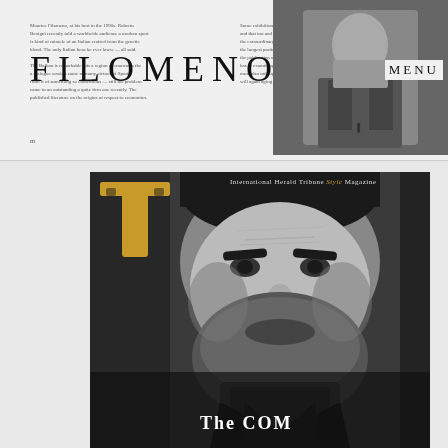FILOMENO
Small body text columns describing Filomeno article content
[Figure (photo): Black and white photo of a man in a suit with arms crossed, top right of page, against dark background]
MENU
[Figure (photo): Large black and white close-up portrait of a bearded man with intense expression, used as magazine cover for International Herald Tribune Style Magazine]
[Figure (logo): New York Times golden T logo overlaid on magazine cover]
International Herald Tribune Style Magazine
The COM